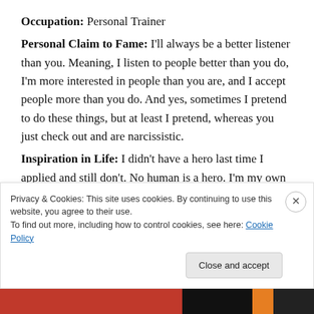Occupation: Personal Trainer
Personal Claim to Fame: I'll always be a better listener than you. Meaning, I listen to people better than you do, I'm more interested in people than you are, and I accept people more than you do. And yes, sometimes I pretend to do these things, but at least I pretend, whereas you just check out and are narcissistic.
Inspiration in Life: I didn't have a hero last time I applied and still don't. No human is a hero. I'm my own hero because I love the person I am.
Privacy & Cookies: This site uses cookies. By continuing to use this website, you agree to their use.
To find out more, including how to control cookies, see here: Cookie Policy